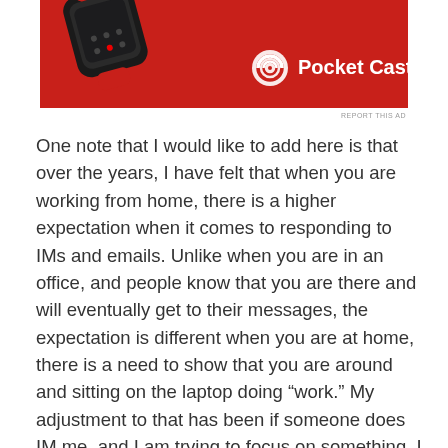[Figure (screenshot): Advertisement for Pocket Casts app showing a red smartwatch device on a red background with the Pocket Casts logo (spiral icon) and brand name in white text.]
REPORT THIS AD
One note that I would like to add here is that over the years, I have felt that when you are working from home, there is a higher expectation when it comes to responding to IMs and emails. Unlike when you are in an office, and people know that you are there and will eventually get to their messages, the expectation is different when you are at home, there is a need to show that you are around and sitting on the laptop doing “work.” My adjustment to that has been if someone does IM me, and I am trying to focus on something, I will let them know that give me a few, and  I will get back to you. Don’t feel obliged to respond to every IM